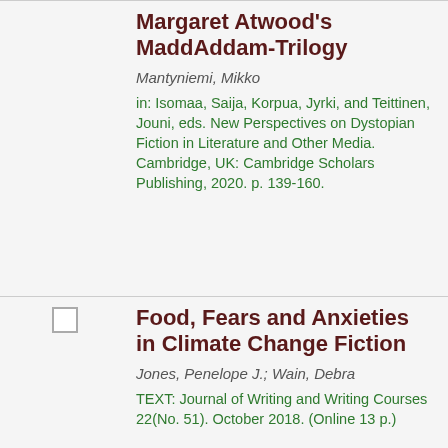Margaret Atwood's MaddAddam-Trilogy
Mantyniemi, Mikko
in: Isomaa, Saija, Korpua, Jyrki, and Teittinen, Jouni, eds. New Perspectives on Dystopian Fiction in Literature and Other Media. Cambridge, UK: Cambridge Scholars Publishing, 2020. p. 139-160.
Food, Fears and Anxieties in Climate Change Fiction
Jones, Penelope J.; Wain, Debra
TEXT: Journal of Writing and Writing Courses 22(No. 51). October 2018. (Online 13 p.)